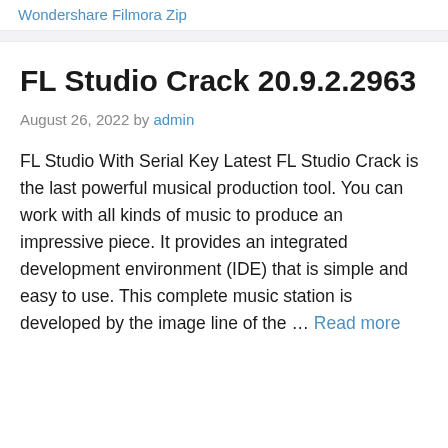Wondershare Filmora Zip
FL Studio Crack 20.9.2.2963
August 26, 2022 by admin
FL Studio With Serial Key Latest FL Studio Crack is the last powerful musical production tool. You can work with all kinds of music to produce an impressive piece. It provides an integrated development environment (IDE) that is simple and easy to use. This complete music station is developed by the image line of the … Read more